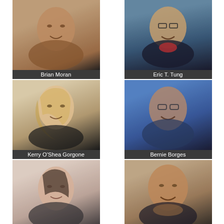[Figure (photo): Headshot of Brian Moran, smiling man]
Brian Moran
[Figure (photo): Headshot of Eric T. Tung, man with glasses and red bow tie, expressive face]
Eric T. Tung
[Figure (photo): Headshot of Kerry O'Shea Gorgone, woman with blonde hair]
Kerry O'Shea Gorgone
[Figure (photo): Headshot of Bernie Borges, man with glasses smiling against blue background]
Bernie Borges
[Figure (photo): Headshot of Tessa Horehled, woman with dark hair]
Tessa Horehled
[Figure (photo): Headshot of Bill Carmody, smiling man resting chin on hands]
Bill Carmody
[Figure (photo): Partial headshot at bottom left, woman]
[Figure (photo): Partial headshot at bottom right, person]